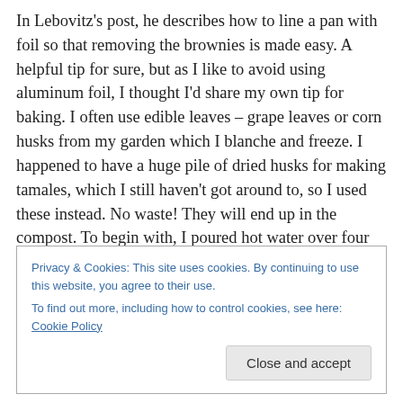In Lebovitz's post, he describes how to line a pan with foil so that removing the brownies is made easy. A helpful tip for sure, but as I like to avoid using aluminum foil, I thought I'd share my own tip for baking. I often use edible leaves – grape leaves or corn husks from my garden which I blanche and freeze. I happened to have a huge pile of dried husks for making tamales, which I still haven't got around to, so I used these instead. No waste! They will end up in the compost. To begin with, I poured hot water over four husks to soften them a bit, shook them dry and lined an 8″ square pan. Then I sprayed it with a little oil
Privacy & Cookies: This site uses cookies. By continuing to use this website, you agree to their use.
To find out more, including how to control cookies, see here: Cookie Policy
Close and accept